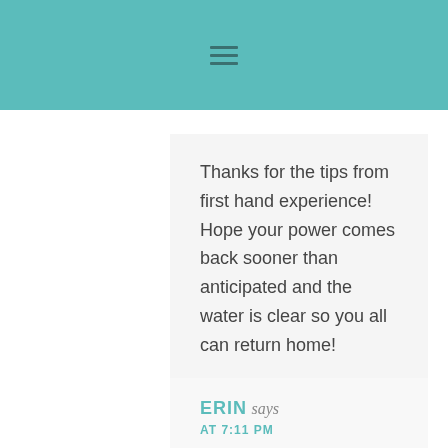Thanks for the tips from first hand experience! Hope your power comes back sooner than anticipated and the water is clear so you all can return home!
ERIN says
AT 7:11 PM
I actually live in Colorado Springs (the city most affected by the Waldo Canyon Fire), so being